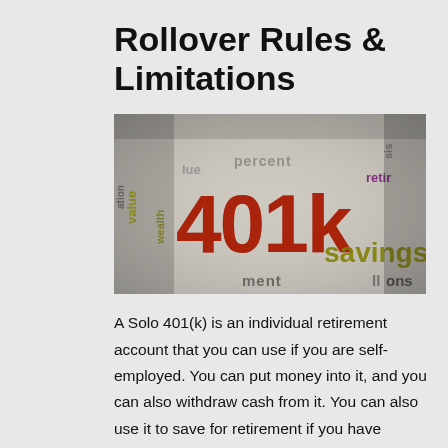Rollover Rules & Limitations
[Figure (photo): Close-up photograph of a word cloud on paper featuring '401K' in large red letters, with surrounding words including 'percent', 'savings', 'retirement', 'wealth', 'value', 'ment', 'ons' in various colors including yellow, red, purple, and olive green.]
A Solo 401(k) is an individual retirement account that you can use if you are self-employed. You can put money into it, and you can also withdraw cash from it. You can also use it to save for retirement if you have